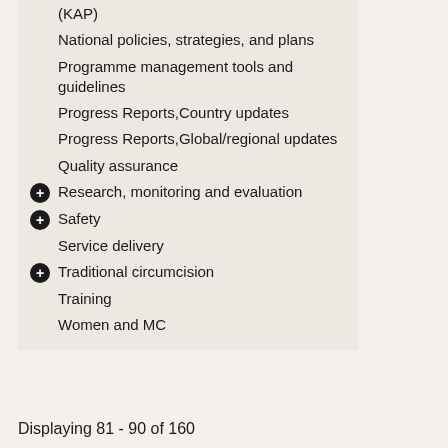(KAP)
National policies, strategies, and plans
Programme management tools and guidelines
Progress Reports,Country updates
Progress Reports,Global/regional updates
Quality assurance
Research, monitoring and evaluation
Safety
Service delivery
Traditional circumcision
Training
Women and MC
Displaying 81 - 90 of 160